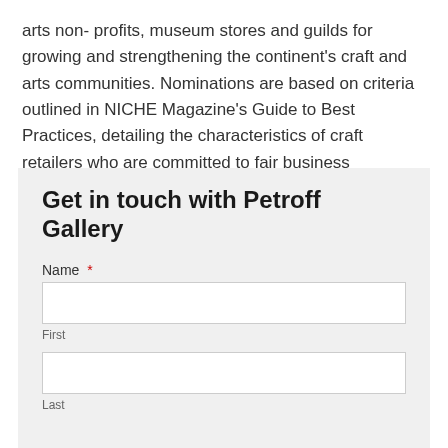arts non- profits, museum stores and guilds for growing and strengthening the continent's craft and arts communities. Nominations are based on criteria outlined in NICHE Magazine's Guide to Best Practices, detailing the characteristics of craft retailers who are committed to fair business practices.
Get in touch with Petroff Gallery
Name *
First
Last